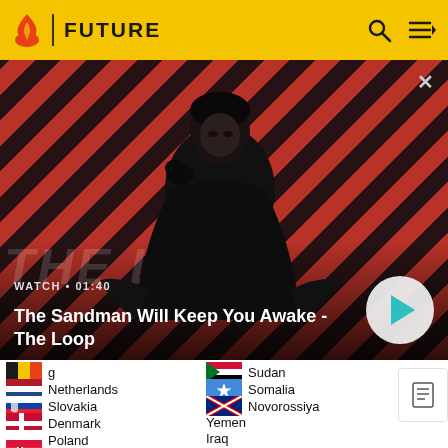FUTURE
[Figure (screenshot): Video thumbnail showing a dark figure with a crow on shoulder against red/black striped background. Text overlay: WATCH • 01:40, The Sandman Will Keep You Awake - The Loop]
WATCH • 01:40
The Sandman Will Keep You Awake - The Loop
g (Belgium flag)
Netherlands
Slovakia
Denmark
Poland
Norway
Sudan
Somalia
Novorossiya
Yemen
Iraq